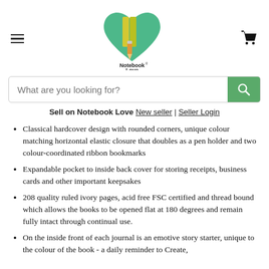[Figure (logo): Notebook Love logo: a green heart shape with yellow book spines and an orange pencil, with 'Notebook Love' text below]
What are you looking for? [search bar]
Sell on Notebook Love New seller | Seller Login
Classical hardcover design with rounded corners, unique colour matching horizontal elastic closure that doubles as a pen holder and two colour-coordinated ribbon bookmarks
Expandable pocket to inside back cover for storing receipts, business cards and other important keepsakes
208 quality ruled ivory pages, acid free FSC certified and thread bound which allows the books to be opened flat at 180 degrees and remain fully intact through continual use.
On the inside front of each journal is an emotive story starter, unique to the colour of the book - a daily reminder to Create,